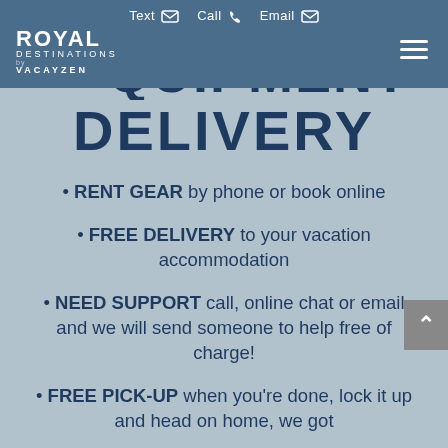Text  Call  Email
[Figure (logo): Royal Destinations by VacayZen logo in white on dark blue background]
EQUIPMENT DELIVERY
RENT GEAR by phone or book online
FREE DELIVERY to your vacation accommodation
NEED SUPPORT call, online chat or email and we will send someone to help free of charge!
FREE PICK-UP when you're done, lock it up and head on home, we got